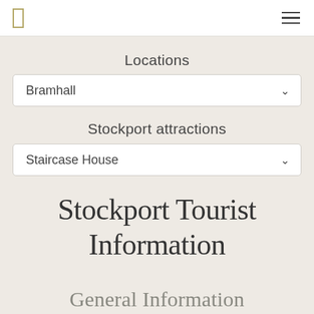[navigation bar with logo and hamburger menu]
Locations
Bramhall [dropdown]
Stockport attractions
Staircase House [dropdown]
Stockport Tourist Information
General Information